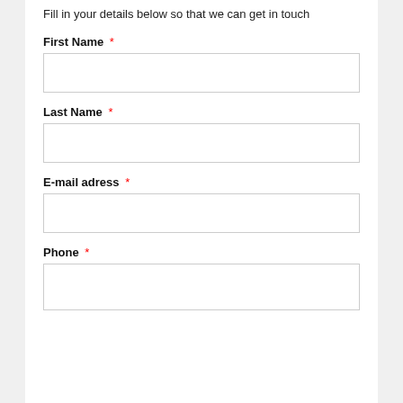Fill in your details below so that we can get in touch
First Name *
Last Name *
E-mail adress *
Phone *